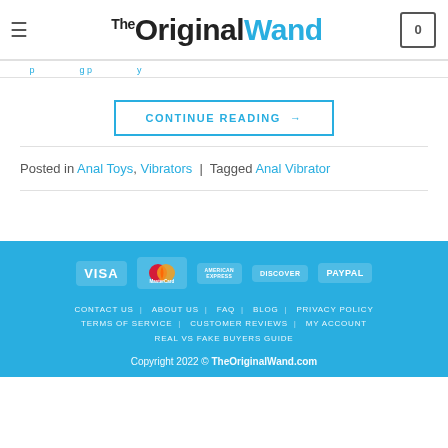The Original Wand
CONTINUE READING →
Posted in Anal Toys, Vibrators | Tagged Anal Vibrator
[Figure (logo): Payment method logos: VISA, MasterCard, American Express, Discover, PayPal]
CONTACT US | ABOUT US | FAQ | BLOG | PRIVACY POLICY | TERMS OF SERVICE | CUSTOMER REVIEWS | MY ACCOUNT | REAL VS FAKE BUYERS GUIDE
Copyright 2022 © TheOriginalWand.com